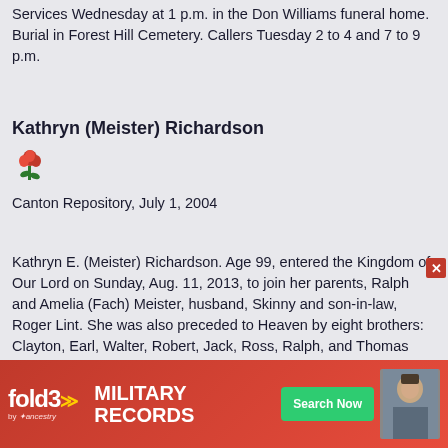Services Wednesday at 1 p.m. in the Don Williams funeral home. Burial in Forest Hill Cemetery. Callers Tuesday 2 to 4 and 7 to 9 p.m.
Kathryn (Meister) Richardson
[Figure (illustration): Small pixel/clipart rose icon]
Canton Repository, July 1, 2004
Kathryn E. (Meister) Richardson. Age 99, entered the Kingdom of Our Lord on Sunday, Aug. 11, 2013, to join her parents, Ralph and Amelia (Fach) Meister, husband, Skinny and son-in-law, Roger Lint. She was also preceded to Heaven by eight brothers: Clayton, Earl, Walter, Robert, Jack, Ross, Ralph, and Thomas Meister and two sisters, Lucille Zupp and Jane Bauman. Katy received great joy from her family including daughter (name deleted); son, (names deleted). Grandchildren (names deleted). There are eight great-gra... with her only s...ozens of nieces ...t.
[Figure (screenshot): Fold3 Military Records advertisement banner with Search Now button and soldier photo]